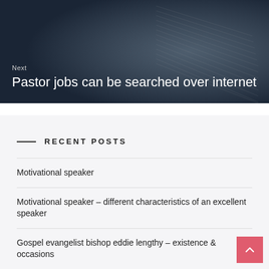[Figure (photo): Dark background image of an open Bible/book with dark overlay, used as a hero image banner]
Next
Pastor jobs can be searched over internet
RECENT POSTS
Motivational speaker
Motivational speaker – different characteristics of an excellent speaker
Gospel evangelist bishop eddie lengthy – existence & occasions